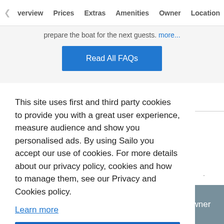Overview  Prices  Extras  Amenities  Owner  Location
prepare the boat for the next guests. more...
Read All FAQs
This site uses first and third party cookies to provide you with a great user experience, measure audience and show you personalised ads. By using Sailo you accept our use of cookies. For more details about our privacy policy, cookies and how to manage them, see our Privacy and Cookies policy.
Learn more
Got it!
wner